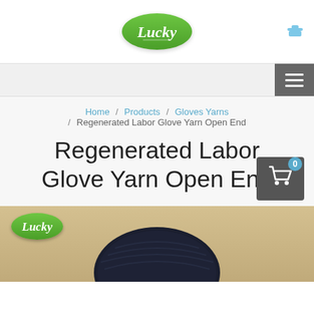[Figure (logo): Lucky brand oval green logo with cursive white text]
[Figure (screenshot): Shopping person icon in blue]
[Figure (screenshot): Hamburger menu icon (three white lines on dark grey background)]
Home / Products / Gloves Yarns / Regenerated Labor Glove Yarn Open End
Regenerated Labor Glove Yarn Open End
[Figure (screenshot): Shopping cart icon with badge showing 0]
[Figure (photo): Product photo showing dark navy blue yarn ball on wooden surface with Lucky logo overlay in top left]